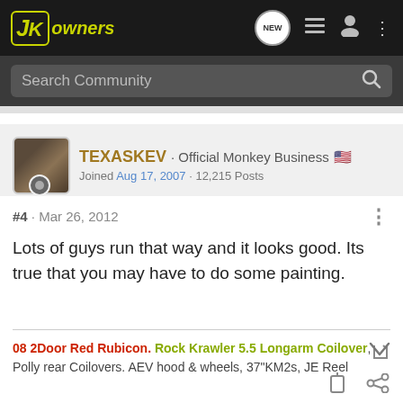JKOwners - Search Community
TEXASKEV · Official Monkey Business 🇺🇸
Joined Aug 17, 2007 · 12,215 Posts
#4 · Mar 26, 2012
Lots of guys run that way and it looks good. Its true that you may have to do some painting.
08 2Door Red Rubicon. Rock Krawler 5.5 Longarm Coilover, Polly rear Coilovers. AEV hood & wheels, 37"KM2s, JE Reel